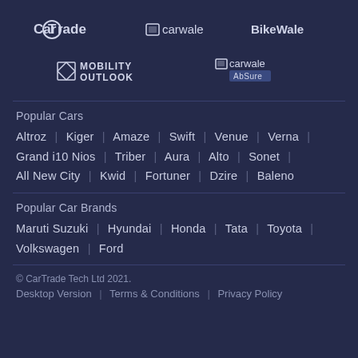[Figure (logo): CarTrade, CarWale, BikeWale logos in top row]
[Figure (logo): Mobility Outlook and CarWale AbSure logos in second row]
Popular Cars
Altroz | Kiger | Amaze | Swift | Venue | Verna | Grand i10 Nios | Triber | Aura | Alto | Sonet | All New City | Kwid | Fortuner | Dzire | Baleno
Popular Car Brands
Maruti Suzuki | Hyundai | Honda | Tata | Toyota | Volkswagen | Ford
© CarTrade Tech Ltd 2021.
Desktop Version | Terms & Conditions | Privacy Policy